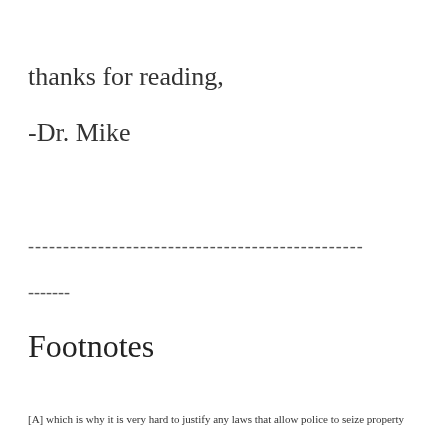thanks for reading,
-Dr. Mike
------------------------------------------------
-------
Footnotes
[A] which is why it is very hard to justify any laws that allow police to seize property